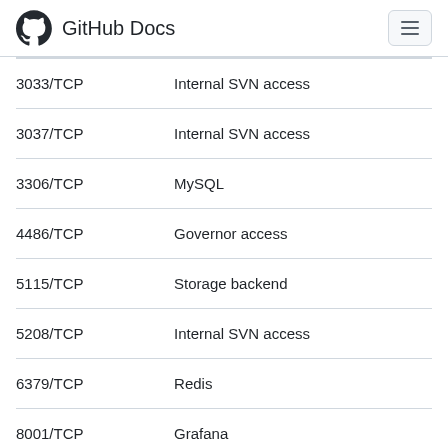GitHub Docs
| Port | Description |
| --- | --- |
| 3033/TCP | Internal SVN access |
| 3037/TCP | Internal SVN access |
| 3306/TCP | MySQL |
| 4486/TCP | Governor access |
| 5115/TCP | Storage backend |
| 5208/TCP | Internal SVN access |
| 6379/TCP | Redis |
| 8001/TCP | Grafana |